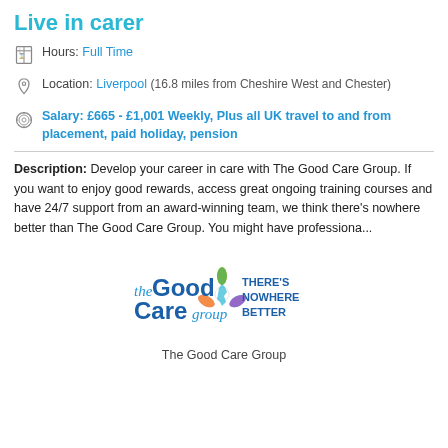Live in carer
Hours: Full Time
Location: Liverpool (16.8 miles from Cheshire West and Chester)
Salary: £665 - £1,001 Weekly, Plus all UK travel to and from placement, paid holiday, pension
Description: Develop your career in care with The Good Care Group. If you want to enjoy good rewards, access great ongoing training courses and have 24/7 support from an award-winning team, we think there's nowhere better than The Good Care Group. You might have professiona...
[Figure (logo): The Good Care Group logo with tagline THERE'S NOWHERE BETTER and colorful floral/map design]
The Good Care Group